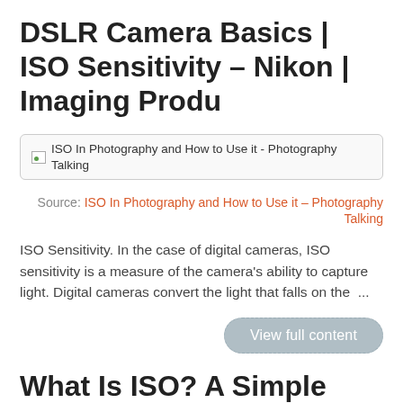DSLR Camera Basics | ISO Sensitivity – Nikon | Imaging Produ
[Figure (screenshot): Broken image placeholder with alt text: ISO In Photography and How to Use it - Photography Talking]
Source: ISO In Photography and How to Use it – Photography Talking
ISO Sensitivity. In the case of digital cameras, ISO sensitivity is a measure of the camera's ability to capture light. Digital cameras convert the light that falls on the  ...
View full content
What Is ISO? A Simple Guide to ISO in Photogra